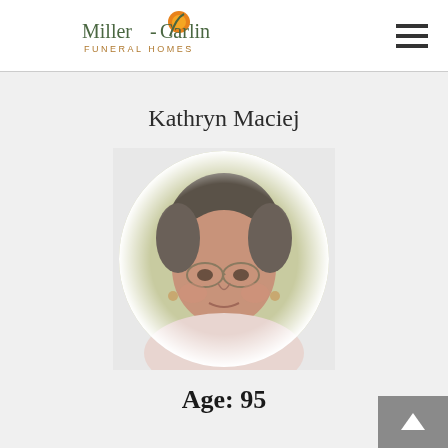Miller-Carlin Funeral Homes
Kathryn Maciej
[Figure (photo): Oval portrait photo of Kathryn Maciej, an elderly woman with gray hair, wearing glasses and a light pink top, set against a soft olive/cream background]
Age: 95